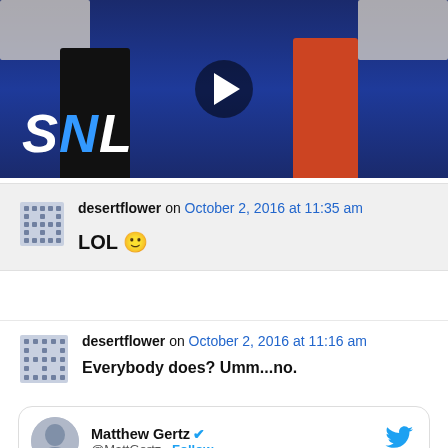[Figure (screenshot): SNL video thumbnail showing two people on a debate stage set with blue background and SNL logo. A play button is visible in the center.]
desertflower on October 2, 2016 at 11:35 am
LOL 🙂
desertflower on October 2, 2016 at 11:16 am
Everybody does? Umm...no.
[Figure (screenshot): Embedded tweet from Matthew Gertz @MattGertz with Follow button and Twitter bird logo.]